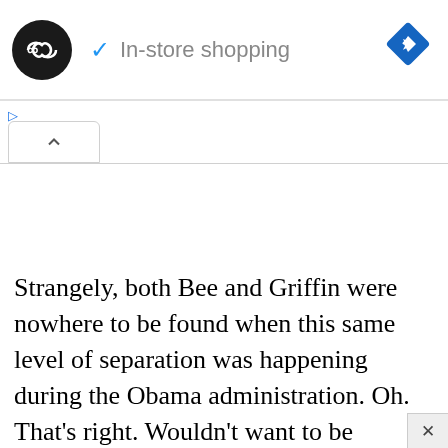[Figure (screenshot): Top bar with a circular black logo with double arrow symbol, a blue checkmark followed by 'In-store shopping' text, and a blue diamond navigation icon on the right. Below are small blue play and X icons for ad controls. A tab with an upward chevron caret is shown below.]
Strangely, both Bee and Griffin were nowhere to be found when this same level of separation was happening during the Obama administration. Oh. That’s right. Wouldn’t want to be labeled racist for criticizing the president. Almost